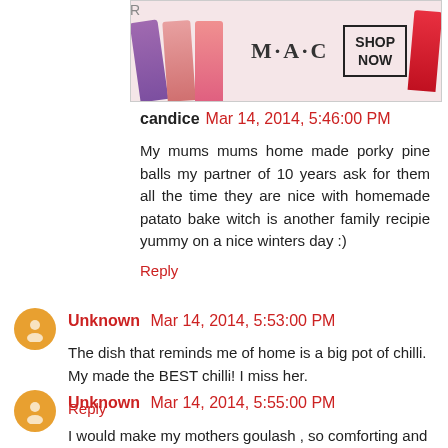[Figure (photo): MAC cosmetics advertisement banner showing colorful lipsticks and SHOP NOW box]
candice  Mar 14, 2014, 5:46:00 PM
My mums mums home made porky pine balls my partner of 10 years ask for them all the time they are nice with homemade patato bake witch is another family recipie yummy on a nice winters day :)
Reply
Unknown  Mar 14, 2014, 5:53:00 PM
The dish that reminds me of home is a big pot of chilli. My made the BEST chilli! I miss her.
Reply
Unknown  Mar 14, 2014, 5:55:00 PM
I would make my mothers goulash , so comforting and yummy